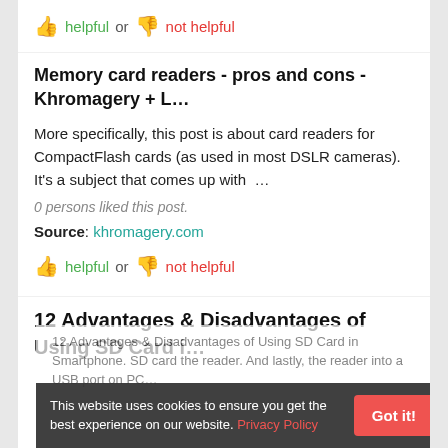helpful or not helpful
Memory card readers - pros and cons - Khromagery + L…
More specifically, this post is about card readers for CompactFlash cards (as used in most DSLR cameras). It's a subject that comes up with …
0 persons liked this post.
Source: khromagery.com
helpful or not helpful
12 Advantages & Disadvantages of Using SD Card i…
12 Advantages & Disadvantages of Using SD Card in Smartphone. SD card the reader. And lastly, the reader into a USB port on PC…
This website uses cookies to ensure you get the best experience on our website. Privacy Policy